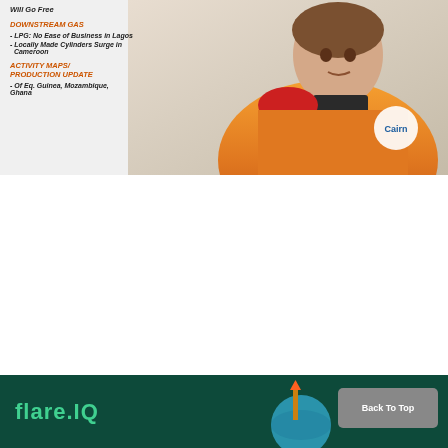[Figure (photo): Magazine cover or page snippet showing a man in an orange safety jacket with Cairn logo. Text overlay includes section headers and bullet points about downstream gas, LPG, locally made cylinders, activity maps, and production updates for Eq. Guinea, Mozambique, Ghana.]
Will Go Free
DOWNSTREAM GAS
- LPG: No Ease of Business in Lagos
- Locally Made Cylinders Surge in Cameroon
ACTIVITY MAPS/ PRODUCTION UPDATE
- Of Eq. Guinea, Mozambique, Ghana
[Figure (logo): flare.IQ logo in teal/green color on dark green background banner at bottom of page]
Back To Top